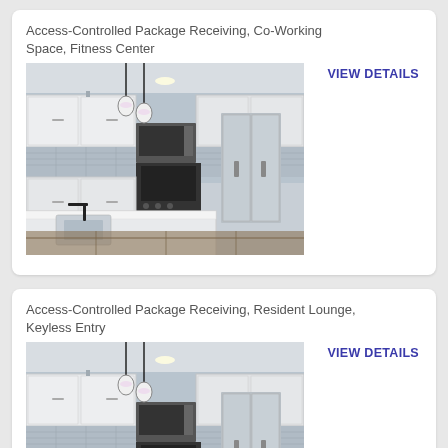Access-Controlled Package Receiving, Co-Working Space, Fitness Center
[Figure (photo): Interior photo of a modern apartment kitchen with white shaker cabinets, stainless steel refrigerator, black stove and microwave, gray tile backsplash, white quartz island countertop, and black pendant lights]
VIEW DETAILS
Access-Controlled Package Receiving, Resident Lounge, Keyless Entry
[Figure (photo): Interior photo of a similar modern apartment kitchen with white shaker cabinets, stainless steel refrigerator, black stove and microwave, gray tile backsplash, white quartz island countertop, and black pendant lights]
VIEW DETAILS